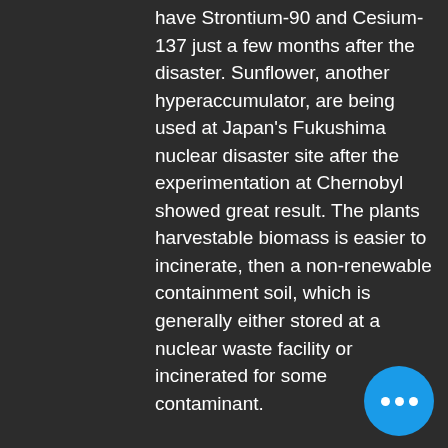have Strontium-90 and Cesium-137 just a few months after the disaster. Sunflower, another hyperaccumulator, are being used at Japan's Fukushima nuclear disaster site after the experimentation at Chernobyl showed great result. The plants harvestable biomass is easier to incinerate, then a non-renewable containment soil, which is generally either stored at a nuclear waste facility or incinerated for some contaminant.
...can wetland cells treat our sewage more effectively and look better in our backyards? (YES!